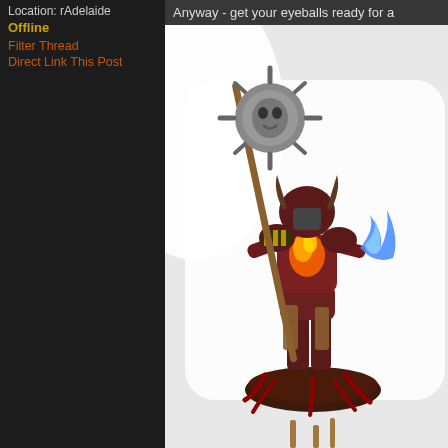Location: rAdelaide
Offline
Filter Thread
Direct Link This Post
Anyway - get your eyeballs ready for a
[Figure (photo): Painted Warhammer fantasy/Age of Sigmar miniature figure — a chaos warrior/sorcerer holding a large spiked mace/morningstar with a skull face. The figure wears horned armor, carries a staff topped with a sun-like spiked ball with a skull. The miniature has orange flame effects on chest, blue magical flame in one hand, red tentacles on the base, and is mounted on a round scenic base. Background is white.]